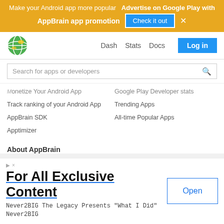Make your Android app more popular  Advertise on Google Play with AppBrain app promotion  Check it out  ×
Dash  Stats  Docs  Log in
Search for apps or developers
Monetize Your Android App
Google Play Developer stats
Track ranking of your Android App
Trending Apps
AppBrain SDK
All-time Popular Apps
Apptimizer
About AppBrain
Contact
Blog
Privacy
ntation
app Install tracking and
For All Exclusive Content
Never2BIG The Legacy Presents "What I Did" Never2BIG
Open